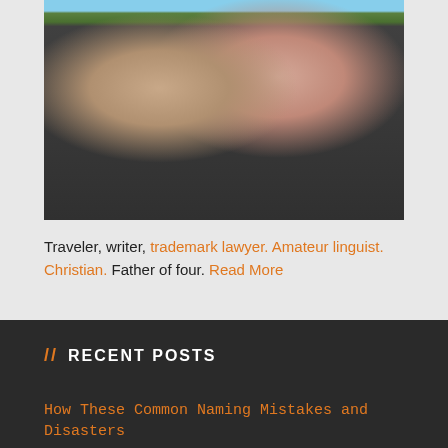[Figure (photo): A man in a suit and tie smiling next to a young woman in a graduation cap and gown at an outdoor graduation ceremony.]
Traveler, writer, trademark lawyer. Amateur linguist. Christian. Father of four. Read More
// RECENT POSTS
How These Common Naming Mistakes and Disasters